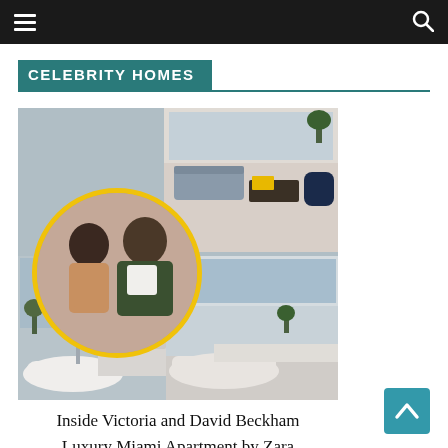≡  [navbar]  🔍
CELEBRITY HOMES
[Figure (photo): Composite image: Victoria and David Beckham in a circular yellow-bordered portrait overlay on luxury Miami apartment interiors including modern living room with navy chair and bathroom with freestanding tub]
Inside Victoria and David Beckham Luxury Miami Apartment by Zara Hadid